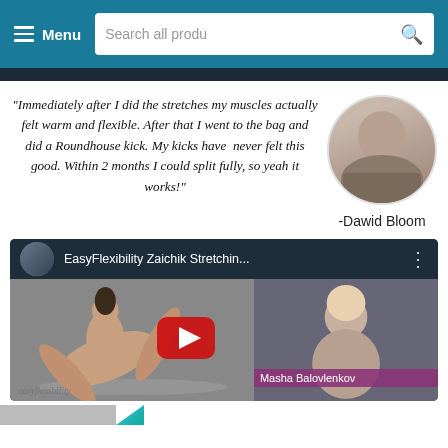Menu | Search all produ
"Immediately after I did the stretches my muscles actually felt warm and flexible. After that I went to the bag and did a Roundhouse kick. My kicks have never felt this good. Within 2 months I could split fully, so yeah it works!"
-Dawid Bloom
[Figure (screenshot): YouTube video thumbnail for EasyFlexibility Zaichik Stretching video showing a woman doing a flexibility pose and Masha Balovlenkov in the sidebar thumbnail, with a red play button overlay]
EasyFlexibility Zaichik Stretchin... | Masha Balovlenkov